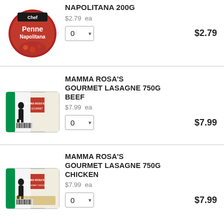[Figure (photo): Penne Napolitana 200g product package - red circular packaging]
NAPOLITANA 200G
$2.79  ea
$2.79
[Figure (photo): Mamma Rosa's Gourmet Lasagne 750G Beef product package - rectangular tray with Italian flag colors]
MAMMA ROSA'S GOURMET LASAGNE 750G BEEF
$7.99  ea
$7.99
[Figure (photo): Mamma Rosa's Gourmet Lasagne 750G Chicken product package - rectangular tray with Italian flag colors]
MAMMA ROSA'S GOURMET LASAGNE 750G CHICKEN
$7.99  ea
$7.99